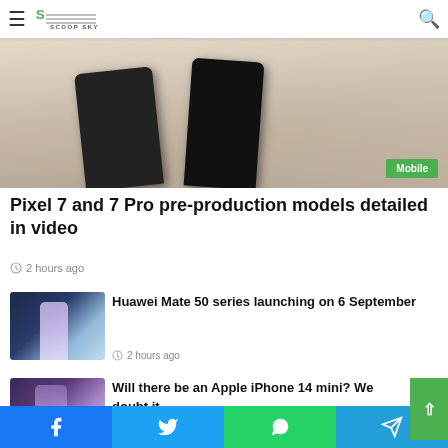Scoop Sky
[Figure (photo): Two smartphones (Pixel 7 and 7 Pro pre-production models) held in hands against white background, with green 'Mobile' badge in bottom-right corner]
Pixel 7 and 7 Pro pre-production models detailed in video
2 hours ago
[Figure (photo): Huawei Mate 50 smartphone standing upright against geometric light blue hexagonal backdrop]
Huawei Mate 50 series launching on 6 September
2 hours ago
[Figure (photo): Apple iPhone with purple/pink tones on a surface]
Will there be an Apple iPhone 14 mini? We doubt it
Facebook | Twitter | WhatsApp | Telegram